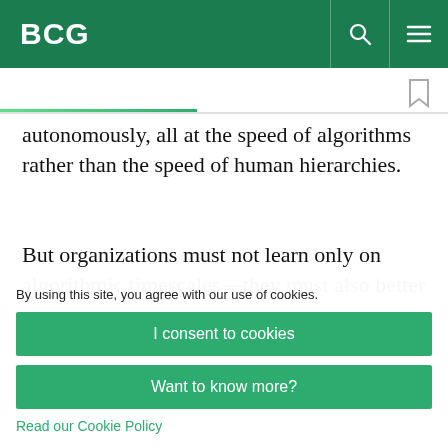BCG
autonomously, all at the speed of algorithms rather than the speed of human hierarchies.
But organizations must not learn only on algorithmic timescales—they must also better
By using this site, you agree with our use of cookies.
I consent to cookies
Want to know more?
Read our Cookie Policy